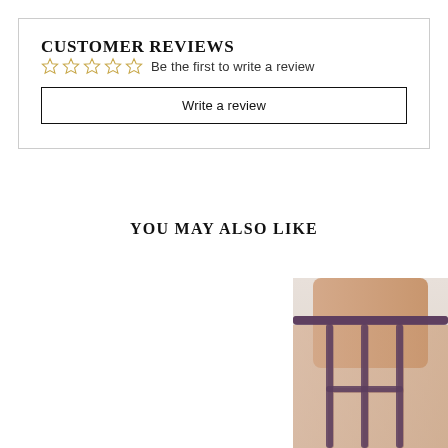CUSTOMER REVIEWS
Be the first to write a review
Write a review
YOU MAY ALSO LIKE
[Figure (photo): Product photo showing lingerie/garment on a model, partial view of lower body]